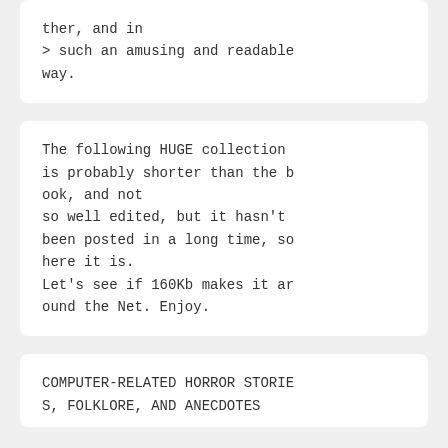ther, and in
> such an amusing and readable way.
The following HUGE collection is probably shorter than the book, and not
so well edited, but it hasn't been posted in a long time, so here it is.
Let's see if 160Kb makes it around the Net. Enjoy.
COMPUTER-RELATED HORROR STORIES, FOLKLORE, AND ANECDOTES